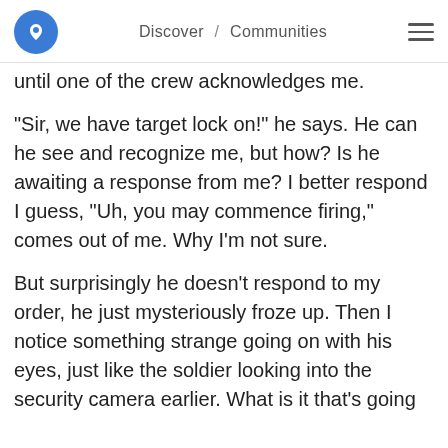Discover / Communities
until one of the crew acknowledges me.
"Sir, we have target lock on!" he says. He can he see and recognize me, but how? Is he awaiting a response from me? I better respond I guess, “Uh, you may commence firing,” comes out of me. Why I’m not sure.
But surprisingly he doesn’t respond to my order, he just mysteriously froze up. Then I notice something strange going on with his eyes, just like the soldier looking into the security camera earlier. What is it that’s going